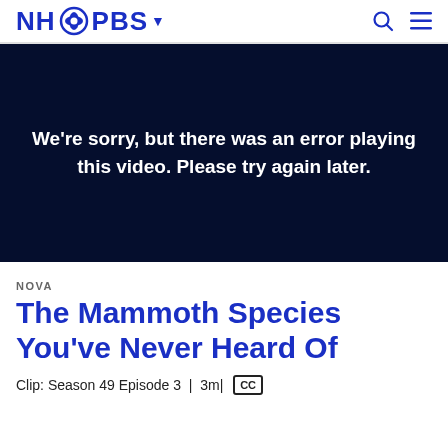NH PBS
[Figure (screenshot): Video player area with dark navy background showing error message: We're sorry, but there was an error playing this video. Please try again later.]
NOVA
The Mammoth Species You've Never Heard Of
Clip: Season 49 Episode 3 | 3m| CC